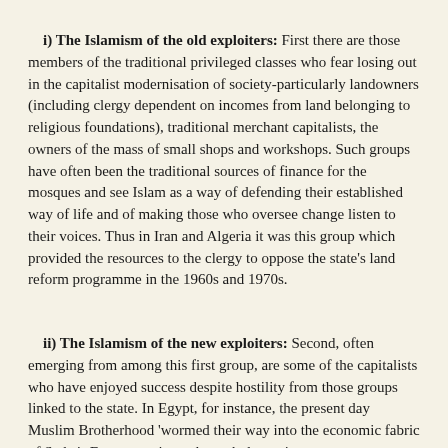i) The Islamism of the old exploiters: First there are those members of the traditional privileged classes who fear losing out in the capitalist modernisation of society-particularly landowners (including clergy dependent on incomes from land belonging to religious foundations), traditional merchant capitalists, the owners of the mass of small shops and workshops. Such groups have often been the traditional sources of finance for the mosques and see Islam as a way of defending their established way of life and of making those who oversee change listen to their voices. Thus in Iran and Algeria it was this group which provided the resources to the clergy to oppose the state's land reform programme in the 1960s and 1970s.
ii) The Islamism of the new exploiters: Second, often emerging from among this first group, are some of the capitalists who have enjoyed success despite hostility from those groups linked to the state. In Egypt, for instance, the present day Muslim Brotherhood 'wormed their way into the economic fabric of Sadat's Egypt at a time when whole sections